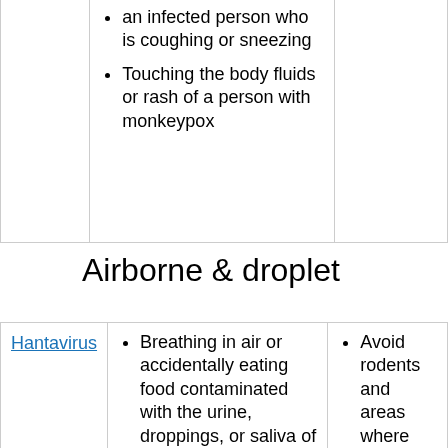an infected person who is coughing or sneezing
Touching the body fluids or rash of a person with monkeypox
Airborne & droplet
Hantavirus
Breathing in air or accidentally eating food contaminated with the urine, droppings, or saliva of infected
Avoid rodents and areas where they live
Avoid sick people